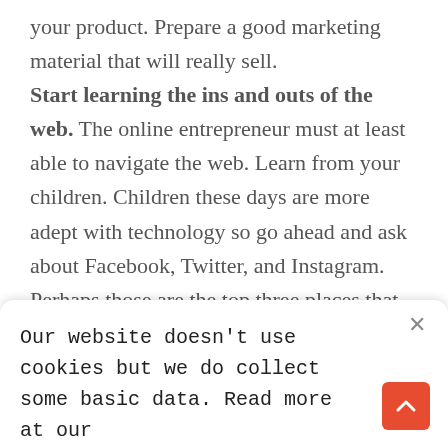your product. Prepare a good marketing material that will really sell. Start learning the ins and outs of the web. The online entrepreneur must at least able to navigate the web. Learn from your children. Children these days are more adept with technology so go ahead and ask about Facebook, Twitter, and Instagram. Perhaps those are the top three places that you should start building your business in. Start your website. Starting a website could be costly but it is the home of your business.
Our website doesn't use cookies but we do collect some basic data. Read more at our